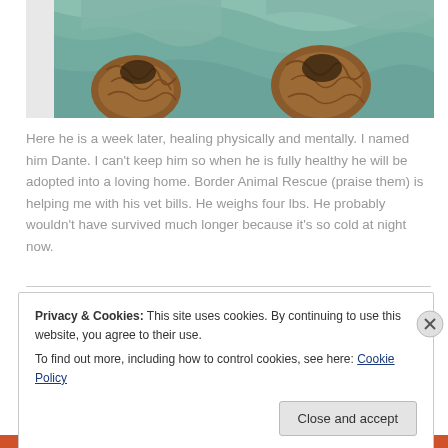[Figure (photo): Close-up photo of a small dog or puppy wrapped in a teal/mint green blanket, with brown and black fur visible]
Here he is a week later, healing physically and mentally. I named him Dante. I can't keep him so when he is fully healthy he will be adopted into a loving home. Border Animal Rescue (praise them) is helping me with his vet bills. He weighs four lbs. He probably wouldn't have survived much longer because it's so cold at night now.
Privacy & Cookies: This site uses cookies. By continuing to use this website, you agree to their use.
To find out more, including how to control cookies, see here: Cookie Policy